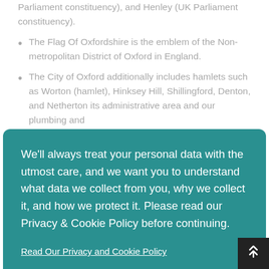Parliament constituency), and Henley (UK Parliament constituency).
The Flag Of Oxfordshire is the emblem of the Non-metropolitan District of Oxford in England.
The City of Oxford additionally includes hamlets such as Worton (hamlet), Hinksey Hill, Shillingford, Denton, and Netherton its administrative area and our plumbing and
[Figure (screenshot): Cookie consent modal overlay with teal background. Contains text: 'We'll always treat your personal data with the utmost care, and we want you to understand what data we collect from you, why we collect it, and how we protect it. Please read our Privacy & Cookie Policy before continuing.' A link 'Read Our Privacy and Cookie Policy' and two buttons: 'Decline' and 'Accept' (green).]
...as ...thorn ...ngdon- on-Thames, Headington, Osney, Kennington, Botley,